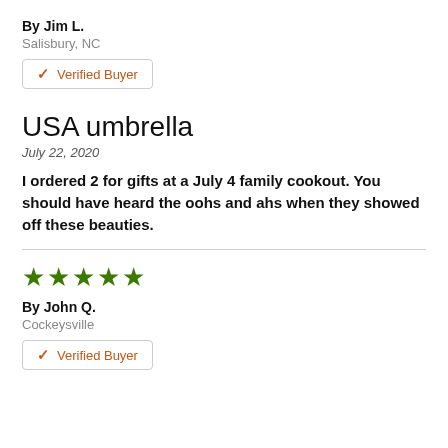By Jim L.
Salisbury, NC
✓ Verified Buyer
USA umbrella
July 22, 2020
I ordered 2 for gifts at a July 4 family cookout. You should have heard the oohs and ahs when they showed off these beauties.
★★★★★
By John Q.
Cockeysville
✓ Verified Buyer